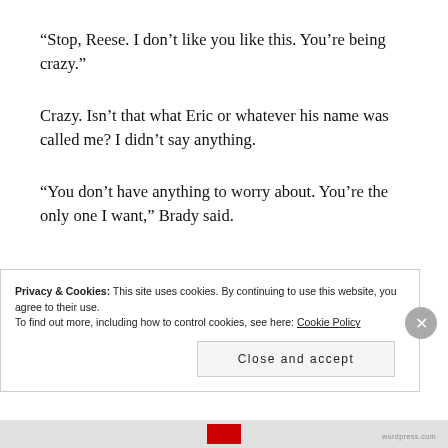“Stop, Reese. I don’t like you like this. You’re being crazy.”
Crazy. Isn’t that what Eric or whatever his name was called me? I didn’t say anything.
“You don’t have anything to worry about. You’re the only one I want,” Brady said.
Privacy & Cookies: This site uses cookies. By continuing to use this website, you agree to their use.
To find out more, including how to control cookies, see here: Cookie Policy
Close and accept